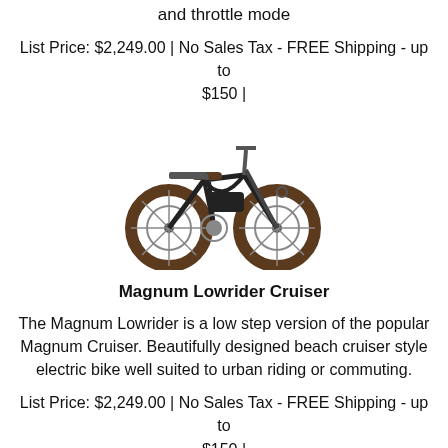and throttle mode
List Price: $2,249.00 | No Sales Tax - FREE Shipping - up to $150 |
[Figure (photo): Photo of a Magnum Lowrider Cruiser electric bike with brown tires and black frame, beach cruiser style]
Magnum Lowrider Cruiser
The Magnum Lowrider is a low step version of the popular Magnum Cruiser. Beautifully designed beach cruiser style electric bike well suited to urban riding or commuting.
List Price: $2,249.00 | No Sales Tax - FREE Shipping - up to $150 |